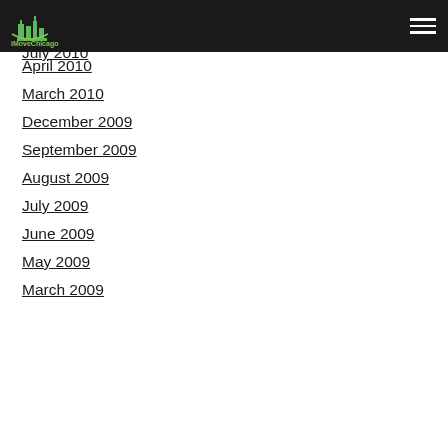iMoveChicago
August 2010
July 2010
April 2010
March 2010
December 2009
September 2009
August 2009
July 2009
June 2009
May 2009
March 2009